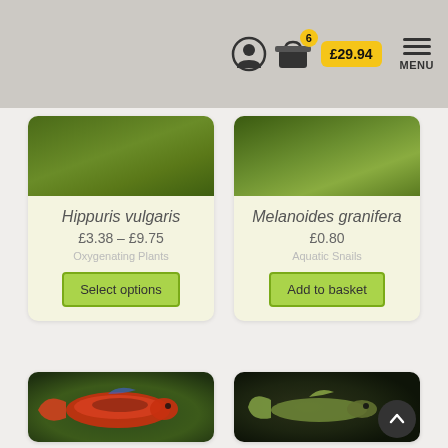£29.94 | 6 items in basket | MENU
Hippuris vulgaris
£3.38 – £9.75
Oxygenating Plants
Select options
Melanoides granifera
£0.80
Aquatic Snails
Add to basket
[Figure (photo): Red guppy fish on green background]
[Figure (photo): Small translucent fish on dark background]